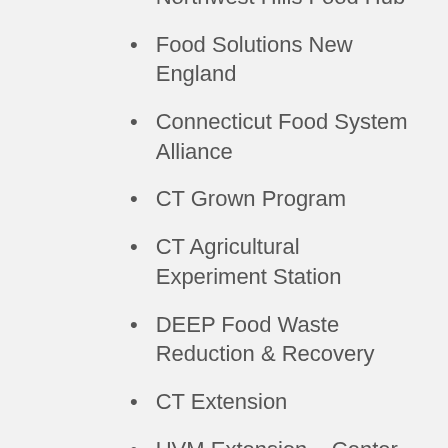Northwest Hills Food Hub
Food Solutions New England
Connecticut Food System Alliance
CT Grown Program
CT Agricultural Experiment Station
DEEP Food Waste Reduction & Recovery
CT Extension
UVM Extension – Center for Sustainable Agriculture